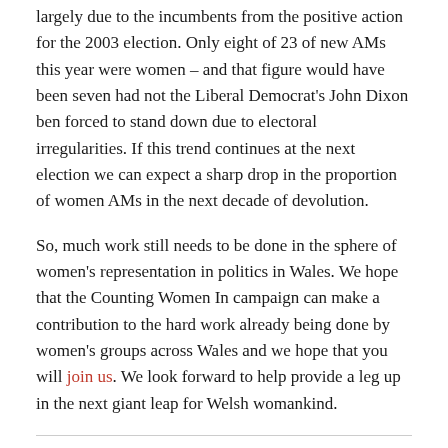largely due to the incumbents from the positive action for the 2003 election. Only eight of 23 of new AMs this year were women – and that figure would have been seven had not the Liberal Democrat's John Dixon ben forced to stand down due to electoral irregularities. If this trend continues at the next election we can expect a sharp drop in the proportion of women AMs in the next decade of devolution.
So, much work still needs to be done in the sphere of women's representation in politics in Wales. We hope that the Counting Women In campaign can make a contribution to the hard work already being done by women's groups across Wales and we hope that you will join us. We look forward to help provide a leg up in the next giant leap for Welsh womankind.
Owain ap Gareth is Research and Campaigns Officer for